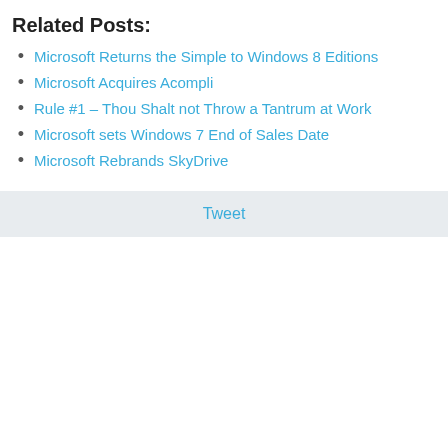Related Posts:
Microsoft Returns the Simple to Windows 8 Editions
Microsoft Acquires Acompli
Rule #1 – Thou Shalt not Throw a Tantrum at Work
Microsoft sets Windows 7 End of Sales Date
Microsoft Rebrands SkyDrive
Tweet